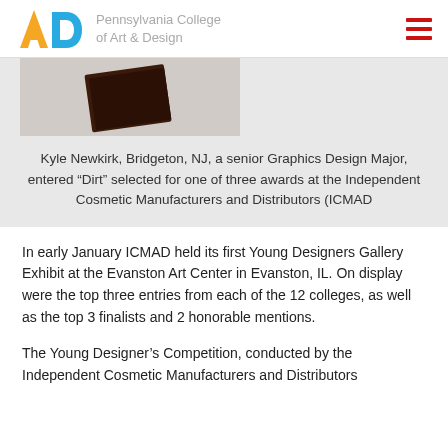Pennsylvania College of Art & Design
[Figure (photo): Photo of dark brown book/box object on a light surface, partially cropped at top]
Kyle Newkirk, Bridgeton, NJ, a senior Graphics Design Major, entered “Dirt” selected for one of three awards at the Independent Cosmetic Manufacturers and Distributors (ICMAD
In early January ICMAD held its first Young Designers Gallery Exhibit at the Evanston Art Center in Evanston, IL. On display were the top three entries from each of the 12 colleges, as well as the top 3 finalists and 2 honorable mentions.
The Young Designer’s Competition, conducted by the Independent Cosmetic Manufacturers and Distributors